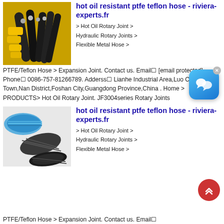[Figure (photo): Photo of hydraulic hose assembly with yellow fittings and black hoses]
hot oil resistant ptfe teflon hose - riviera-experts.fr
> Hot Oil Rotary Joint > Hydraulic Rotary Joints > Flexible Metal Hose >
PTFE/Teflon Hose > Expansion Joint. Contact us. Email  [email protected]. Phone  0086-757-81266789. Adderss  Lianhe Industrial Area,Luo Cun Town,Nan District,Foshan City,Guangdong Province,China . Home > PRODUCTS> Hot Oil Rotary Joint. JF3004series Rotary Joints
[Figure (photo): Photo of industrial hoses - blue spiral hose and black corrugated hoses]
hot oil resistant ptfe teflon hose - riviera-experts.fr
> Hot Oil Rotary Joint > Hydraulic Rotary Joints > Flexible Metal Hose >
PTFE/Teflon Hose > Expansion Joint. Contact us. Email 